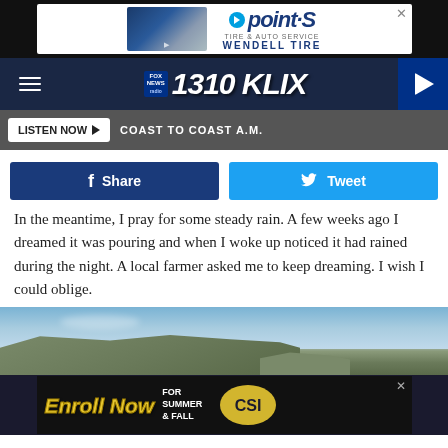[Figure (screenshot): Point S Wendell Tire advertisement banner at top of page]
[Figure (logo): Fox News Radio 1310 KLIX station logo navigation bar with hamburger menu and play button]
[Figure (screenshot): Listen Now button bar showing COAST TO COAST A.M. text]
[Figure (infographic): Facebook Share and Twitter Tweet social sharing buttons]
In the meantime, I pray for some steady rain.  A few weeks ago I dreamed it was pouring and when I woke up noticed it had rained during the night.  A local farmer asked me to keep dreaming.  I wish I could oblige.
[Figure (photo): Landscape photo showing rocky cliffs under a partly cloudy blue sky]
[Figure (screenshot): Enroll Now For Summer & Fall CSI advertisement banner at bottom]